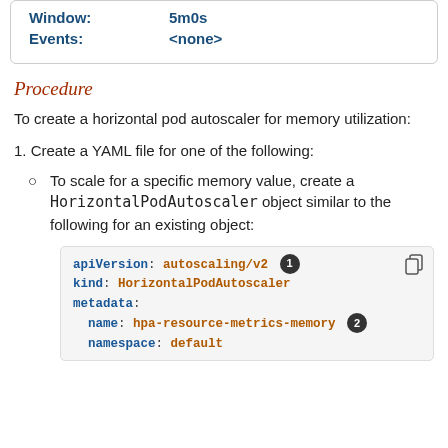| Window: | 5m0s |
| Events: | <none> |
Procedure
To create a horizontal pod autoscaler for memory utilization:
1. Create a YAML file for one of the following:
To scale for a specific memory value, create a HorizontalPodAutoscaler object similar to the following for an existing object:
[Figure (screenshot): Code block showing YAML for HorizontalPodAutoscaler with apiVersion: autoscaling/v2 (callout 1), kind: HorizontalPodAutoscaler, metadata:, name: hpa-resource-metrics-memory (callout 2), namespace: default]